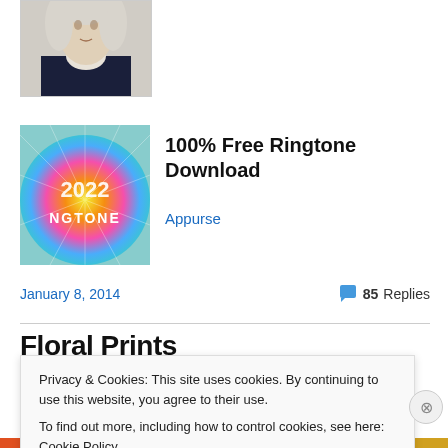[Figure (photo): Partial portrait of a historical figure in period clothing with white wig and cravat, cropped at bottom]
[Figure (illustration): Colorful 2022 ringtone app promotional image with text '2022' and 'NGTONE' over a starburst multicolor background]
100% Free Ringtone Download
Appurse
January 8, 2014
85 Replies
Floral Prints
Privacy & Cookies: This site uses cookies. By continuing to use this website, you agree to their use.
To find out more, including how to control cookies, see here: Cookie Policy